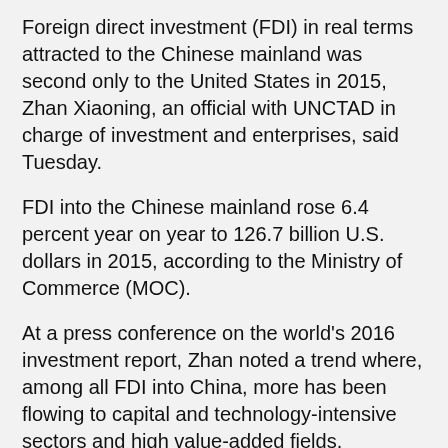Foreign direct investment (FDI) in real terms attracted to the Chinese mainland was second only to the United States in 2015, Zhan Xiaoning, an official with UNCTAD in charge of investment and enterprises, said Tuesday.
FDI into the Chinese mainland rose 6.4 percent year on year to 126.7 billion U.S. dollars in 2015, according to the Ministry of Commerce (MOC).
At a press conference on the world's 2016 investment report, Zhan noted a trend where, among all FDI into China, more has been flowing to capital and technology-intensive sectors and high value-added fields.
Foreign investment in the service industry rose 17.3 percent in 2015, accounting for 61.1 percent of the total flow for the period, the MOC data showed.